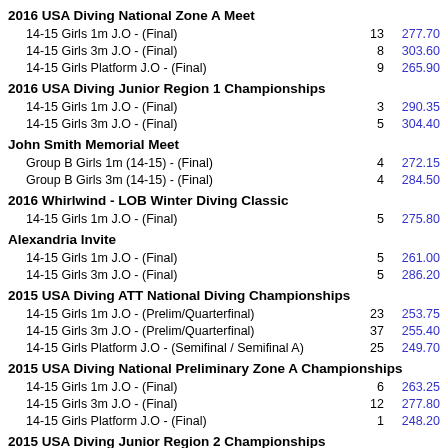2016 USA Diving National Zone A Meet
14-15 Girls 1m J.O - (Final)   13   277.70
14-15 Girls 3m J.O - (Final)   8   303.60
14-15 Girls Platform J.O - (Final)   9   265.90
2016 USA Diving Junior Region 1 Championships
14-15 Girls 1m J.O - (Final)   3   290.35
14-15 Girls 3m J.O - (Final)   5   304.40
John Smith Memorial Meet
Group B Girls 1m (14-15) - (Final)   4   272.15
Group B Girls 3m (14-15) - (Final)   4   284.50
2016 Whirlwind - LOB Winter Diving Classic
14-15 Girls 1m J.O - (Final)   5   275.80
Alexandria Invite
14-15 Girls 1m J.O - (Final)   5   261.00
14-15 Girls 3m J.O - (Final)   5   286.20
2015 USA Diving ATT National Diving Championships
14-15 Girls 1m J.O - (Prelim/Quarterfinal)   23   253.75
14-15 Girls 3m J.O - (Prelim/Quarterfinal)   37   255.40
14-15 Girls Platform J.O - (Semifinal / Semifinal A)   25   249.70
2015 USA Diving National Preliminary Zone A Championships
14-15 Girls 1m J.O - (Final)   6   263.25
14-15 Girls 3m J.O - (Final)   12   277.80
14-15 Girls Platform J.O - (Final)   1   248.20
2015 USA Diving Junior Region 2 Championships
14-15 Girls 1m J.O - (Final)   9   241.90
14-15 Girls 3m J.O - (Final)   5   311.25
John Smith AAU Red White Blue National Qualifier
Group B Girls 1m (14-15) - (Final)   7   250.20
Group B Girls 3m (14-15) - (Final)   6   257.75